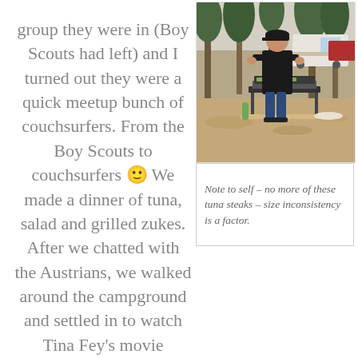group they were in (Boy Scouts had left) and I turned out they were a quick meetup bunch of couchsurfers. From the Boy Scouts to couchsurfers 🙂 We made a dinner of tuna, salad and grilled zukes. After we chatted with the Austrians, we walked around the campground and settled in to watch Tina Fey's movie
[Figure (photo): A person cooking on a portable grill outdoors at a campground. Pine trees and a camper/RV visible in the background. The person is wearing a black t-shirt and cap.]
Note to self – no more of these tuna steaks – size inconsistency is a factor.